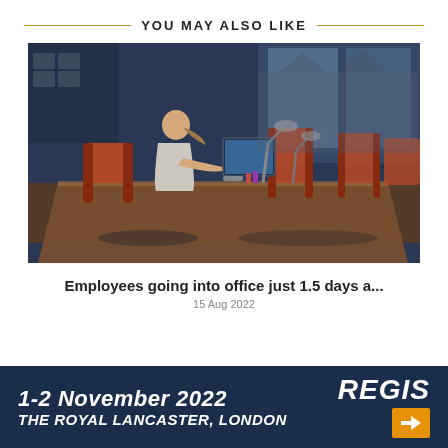YOU MAY ALSO LIKE
[Figure (photo): Woman working alone at a large wooden office desk in a modern open-plan office at night, with orange chairs, desk lamps, and computers. Blue-toned atmospheric lighting.]
Employees going into office just 1.5 days a...
15 Aug 2022
1-2 November 2022
THE ROYAL LANCASTER, LONDON
REGIS